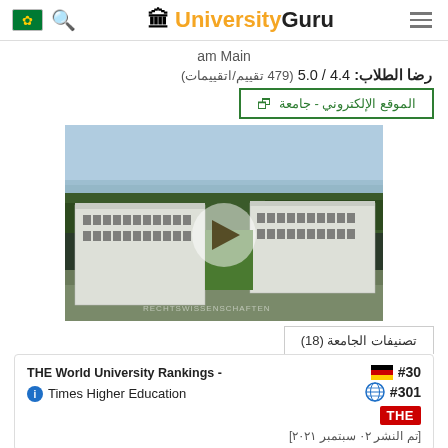UniversityGuru
am Main
رضا الطلاب: 4.4 / 5.0 (479 تقييم/اتقييمات)
الموقع الإلكتروني - جامعة
[Figure (photo): Aerial photo of a university building complex with modern white architecture surrounded by trees, with a play button overlay indicating a video]
تصنيفات الجامعة (18)
| Ranking | Rank |
| --- | --- |
| THE World University Rankings - Times Higher Education | #30 (Germany) / #301 (World) |
| [تم النشر 02 سبتمبر 2021] |  |